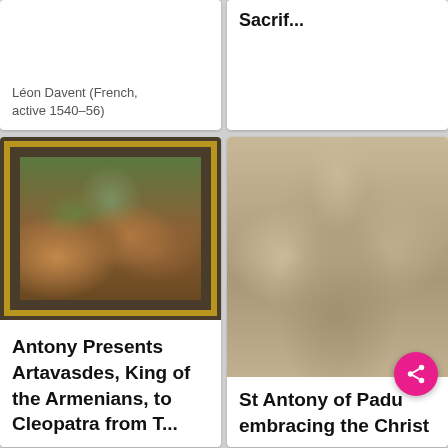Léon Davent (French, active 1540–56)
Sacrif...
[Figure (photo): Tapestry artwork showing a crowd scene with many figures around a table or altar, framed in an ornate gold border]
Antony Presents Artavasdes, King of the Armenians, to Cleopatra from T...
[Figure (photo): Sepia-toned engraving or print of a figure (St Antony of Padua) holding or embracing the Christ child]
St Antony of Padua embracing the Christ